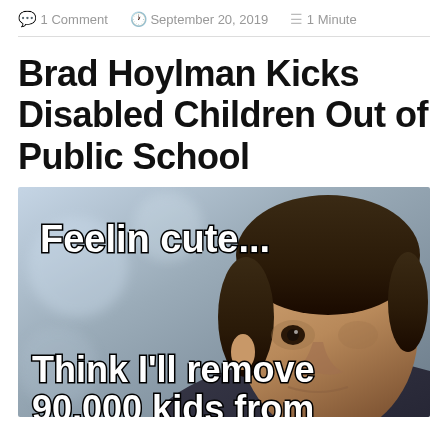1 Comment   September 20, 2019   1 Minute
Brad Hoylman Kicks Disabled Children Out of Public School
[Figure (photo): Meme image of a man with overlaid text reading 'Feelin cute...' at top and 'Think I'll remove' at bottom, with additional text cut off at the bottom edge.]